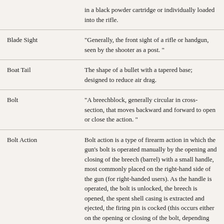| Term | Definition |
| --- | --- |
|  | in a black powder cartridge or individually loaded into the rifle. |
| Blade Sight | "Generally, the front sight of a rifle or handgun, seen by the shooter as a post. " |
| Boat Tail | The shape of a bullet with a tapered base; designed to reduce air drag. |
| Bolt | "A breechblock, generally circular in cross-section, that moves backward and forward to open or close the action. " |
| Bolt Action | Bolt action is a type of firearm action in which the gun's bolt is operated manually by the opening and closing of the breech (barrel) with a small handle, most commonly placed on the right-hand side of the gun (for right-handed users). As the handle is operated, the bolt is unlocked, the breech is opened, the spent shell casing is extracted and ejected, the firing pin is cocked (this occurs either on the opening or closing of the bolt, depending on design), and finally a new round/shell (if available) is placed into the breech and the bolt |